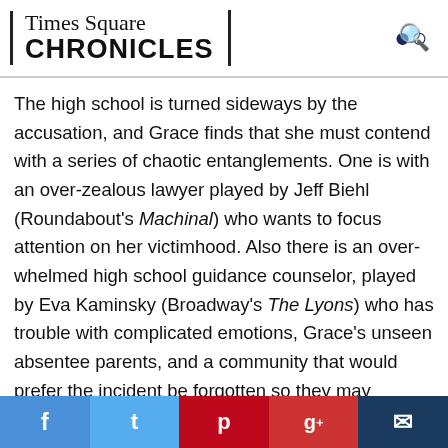Times Square CHRONICLES
The high school is turned sideways by the accusation, and Grace finds that she must contend with a series of chaotic entanglements. One is with an over-zealous lawyer played by Jeff Biehl (Roundabout's Machinal) who wants to focus attention on her victimhood. Also there is an over-whelmed high school guidance counselor, played by Eva Kaminsky (Broadway's The Lyons) who has trouble with complicated emotions, Grace's unseen absentee parents, and a community that would prefer the incident be forgotten so they may continue blindly supporting their favorite football team. Add to that a supportive but combative best friend, Monica, played impressively by Jeena Yi (CSC's
f  t  p  g+  chat